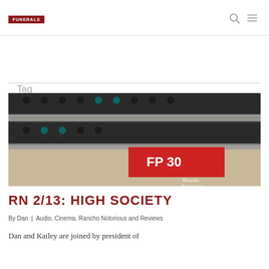FUNERALS
Tag
VINCE VAUGHAN
[Figure (photo): Close-up photograph of film reel equipment showing 'FP 30' label and 'Rancho Notorious' logo/watermark]
RN 2/13: HIGH SOCIETY
By Dan | Audio, Cinema, Rancho Notorious and Reviews
Dan and Kailey are joined by president of